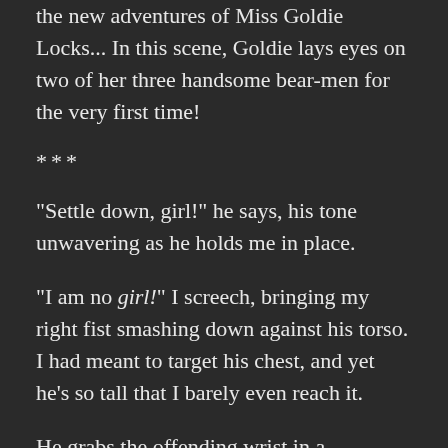the new adventures of Miss Goldie Locks... In this scene, Goldie lays eyes on two of her three handsome bear-men for the very first time!
***
“Settle down, girl!” he says, his tone unwavering as he holds me in place.
“I am no girl!” I screech, bringing my right fist smashing down against his torso. I had meant to target his chest, and yet he’s so tall that I barely even reach it.
He grabs the offending wrist in a heartbeat, looking down at me with a smile. “My, my, you are quite the unruly imp, aren’t you?”